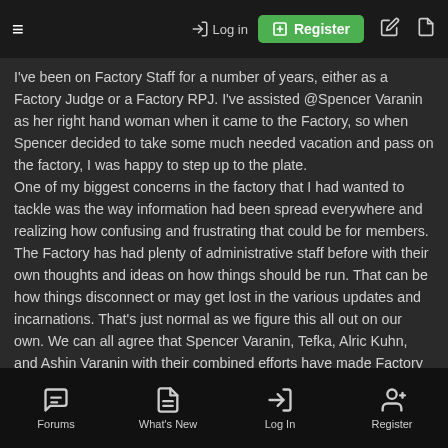≡   →) Log in   ⊞ Register   ✎   ☐
I've been on Factory Staff for a number of years, either as a Factory Judge or a Factory RPJ. I've assisted @Spencer Varanin as her right hand woman when it came to the Factory, so when Spencer decided to take some much needed vacation and pass on the factory, I was happy to step up to the plate.
One of my biggest concerns in the factory that I had wanted to tackle was the way information had been spread everywhere and realizing how confusing and frustrating that could be for members. The Factory has had plenty of administrative staff before with their own thoughts and ideas on how things should be run. That can be how things disconnect or may get lost in the various updates and incarnations. That's just normal as we figure this all out on our own. We can all agree that Spencer Varanin, Tefka, Alric Kuhn, and Ashin Varanin with their combined efforts have made Factory into a much beloved area as the former Factory admins.
Consolidating it and bringing it into one area had been my primary focus. Lowering dev thread requirements, amusingly enough, had been another.
Forums   What's New   Log In   Register